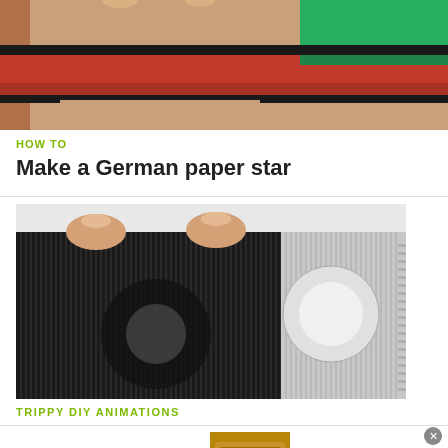[Figure (photo): Close-up photo of fingers holding colorful layered papers (red/green/black) — top cropped image]
HOW TO
Make a German paper star
[Figure (photo): Photo of black corrugated/striped overlay animation material being held up, showing a circular cutout optical illusion effect]
TRIPPY DIY ANIMATIONS
[Figure (other): Wayfair advertisement banner: Top Appliances Low Prices, Save on best selling brands that live up to the hype, Shop now button]